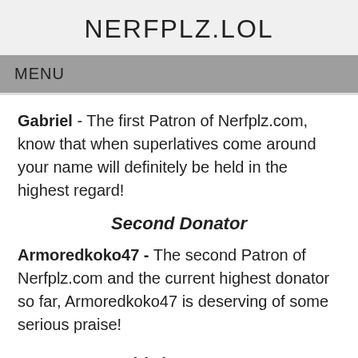NERFPLZ.LOL
MENU
Gabriel - The first Patron of Nerfplz.com, know that when superlatives come around your name will definitely be held in the highest regard!
Second Donator
Armoredkoko47 - The second Patron of Nerfplz.com and the current highest donator so far, Armoredkoko47 is deserving of some serious praise!
Third Donator